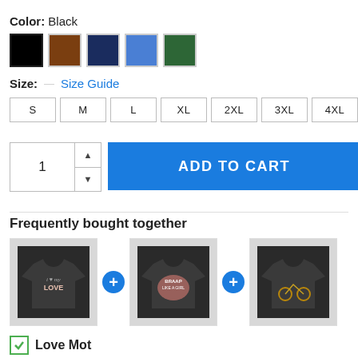Color: Black
[Figure (other): Color swatches: black (selected), brown, navy, blue, green]
Size: — Size Guide
Size options: S, M, L, XL, 2XL, 3XL, 4XL, 5XL
[Figure (other): Quantity selector showing 1 with up/down arrows, and blue ADD TO CART button]
Frequently bought together
[Figure (other): Three t-shirt product images with plus signs between them]
Love Mot